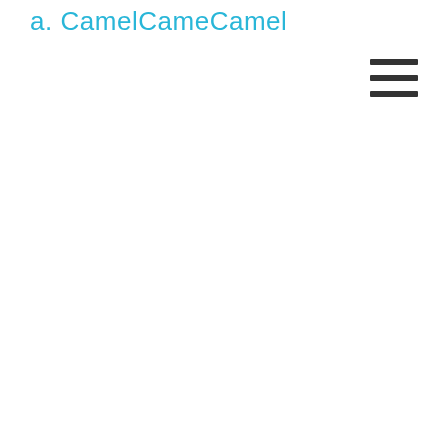a. CamelCameCamel
[Figure (other): Hamburger menu icon — three horizontal dark lines stacked vertically, positioned in the top-right area of the page]